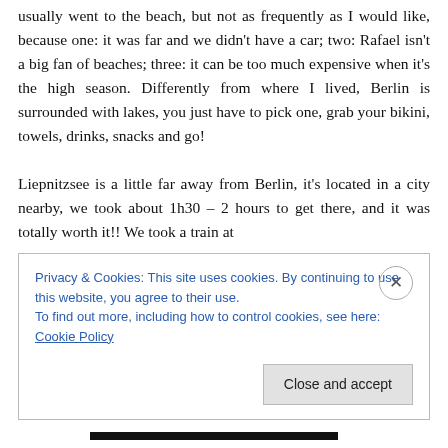usually went to the beach, but not as frequently as I would like, because one: it was far and we didn't have a car; two: Rafael isn't a big fan of beaches; three: it can be too much expensive when it's the high season. Differently from where I lived, Berlin is surrounded with lakes, you just have to pick one, grab your bikini, towels, drinks, snacks and go!
Liepnitzsee is a little far away from Berlin, it's located in a city nearby, we took about 1h30 – 2 hours to get there, and it was totally worth it!! We took a train at
Privacy & Cookies: This site uses cookies. By continuing to use this website, you agree to their use.
To find out more, including how to control cookies, see here: Cookie Policy